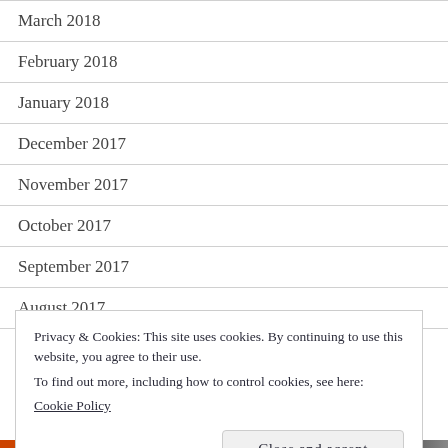March 2018
February 2018
January 2018
December 2017
November 2017
October 2017
September 2017
August 2017
Privacy & Cookies: This site uses cookies. By continuing to use this website, you agree to their use.
To find out more, including how to control cookies, see here:
Cookie Policy
Close and accept